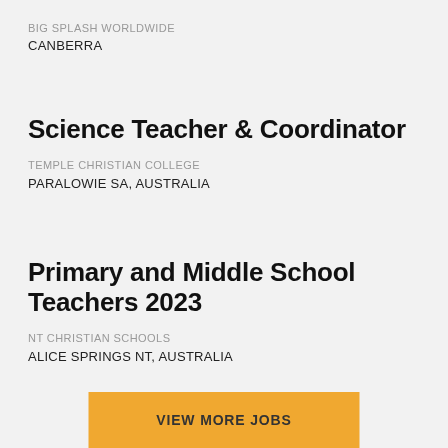BIG SPLASH WORLDWIDE
CANBERRA
Science Teacher & Coordinator
TEMPLE CHRISTIAN COLLEGE
PARALOWIE SA, AUSTRALIA
Primary and Middle School Teachers 2023
NT CHRISTIAN SCHOOLS
ALICE SPRINGS NT, AUSTRALIA
VIEW MORE JOBS